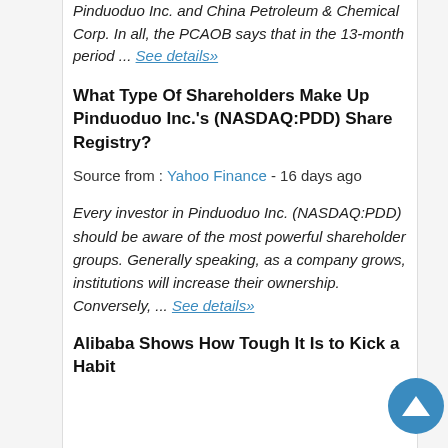Pinduoduo Inc. and China Petroleum & Chemical Corp. In all, the PCAOB says that in the 13-month period ... See details»
What Type Of Shareholders Make Up Pinduoduo Inc.'s (NASDAQ:PDD) Share Registry?
Source from : Yahoo Finance - 16 days ago
Every investor in Pinduoduo Inc. (NASDAQ:PDD) should be aware of the most powerful shareholder groups. Generally speaking, as a company grows, institutions will increase their ownership. Conversely, ... See details»
Alibaba Shows How Tough It Is to Kick a Habit